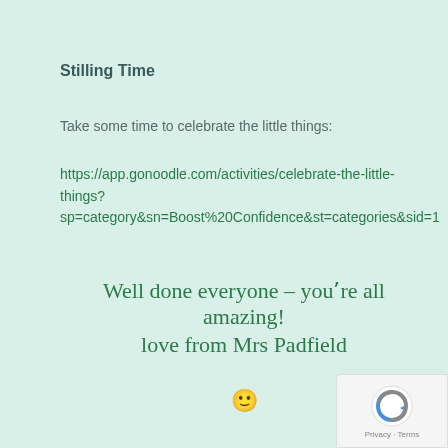Stilling Time
Take some time to celebrate the little things:
https://app.gonoodle.com/activities/celebrate-the-little-things?
sp=category&sn=Boost%20Confidence&st=categories&sid=1
Well done everyone – youʾre all amazing!
love from Mrs Padfield
🙂